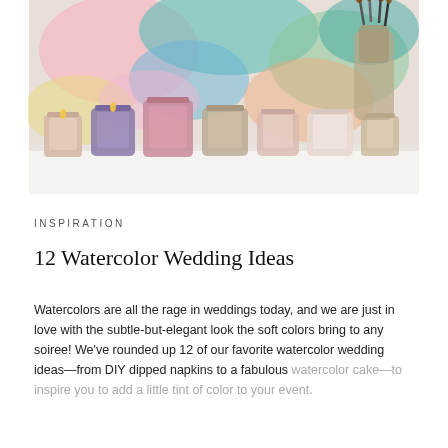[Figure (photo): Several colorful watercolor-painted glass candle holders arranged on a white surface, with paint brushes in a container in the background and a floral watercolor painting backdrop.]
INSPIRATION
12 Watercolor Wedding Ideas
Watercolors are all the rage in weddings today, and we are just in love with the subtle-but-elegant look the soft colors bring to any soiree! We've rounded up 12 of our favorite watercolor wedding ideas—from DIY dipped napkins to a fabulous watercolor cake—to inspire you to add a little tint of color to your event.